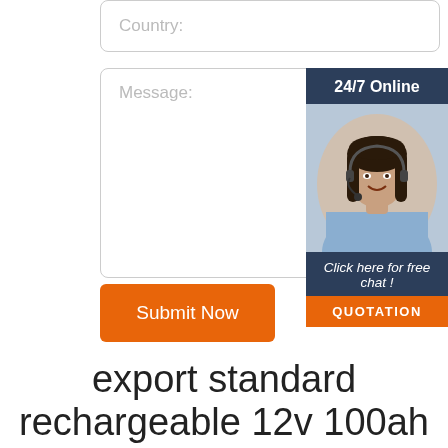[Figure (screenshot): Country input field with placeholder text 'Country:']
[Figure (screenshot): Message textarea with placeholder text 'Message:']
[Figure (infographic): 24/7 Online chat widget with dark blue background, photo of a woman with headset, text 'Click here for free chat!' and orange QUOTATION button]
[Figure (screenshot): Orange 'Submit Now' button]
export standard rechargeable 12v 100ah deep cycle battery pack